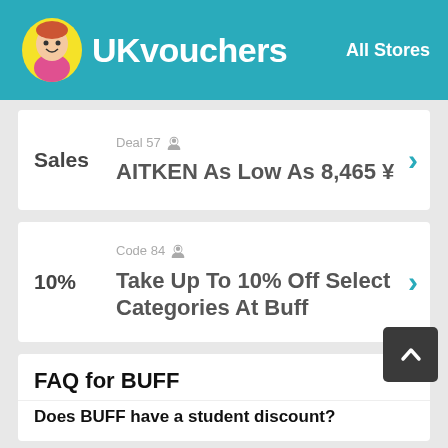UKvouchers | All Stores
Deal 57 | Sales | AITKEN As Low As 8,465 ¥
Code 84 | 10% | Take Up To 10% Off Select Categories At Buff
FAQ for BUFF
Does BUFF have a student discount?